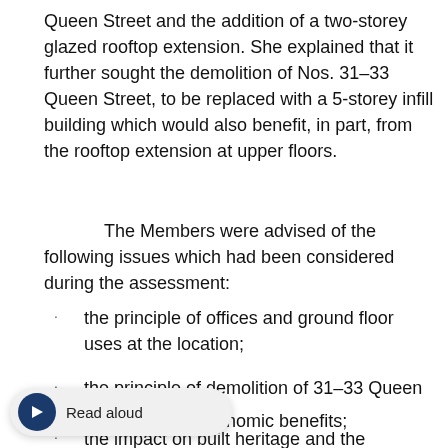Queen Street and the addition of a two-storey glazed rooftop extension. She explained that it further sought the demolition of Nos. 31-33 Queen Street, to be replaced with a 5-storey infill building which would also benefit, in part, from the rooftop extension at upper floors.
The Members were advised of the following issues which had been considered during the assessment:
the principle of offices and ground floor uses at the location;
the principle of demolition of 31-33 Queen Street;
the consideration of economic benefits;
the impact on built heritage and the